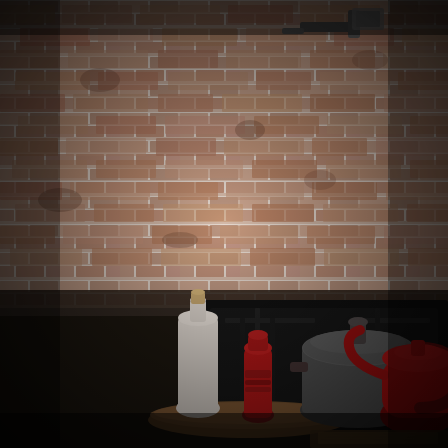[Figure (photo): A kitchen scene with an exposed brick backsplash painted white/cream. In the foreground on a dark wooden countertop sits a wooden tray holding a white ceramic bottle with a cork stopper and a red pepper grinder. Behind them is a black gas stove/cooktop. On the cooktop sits a silver/stainless steel pot and a red tea kettle. On the upper right wall is a wall-mounted faucet or pot filler. The overall lighting is dim with dark vignetting around the edges.]